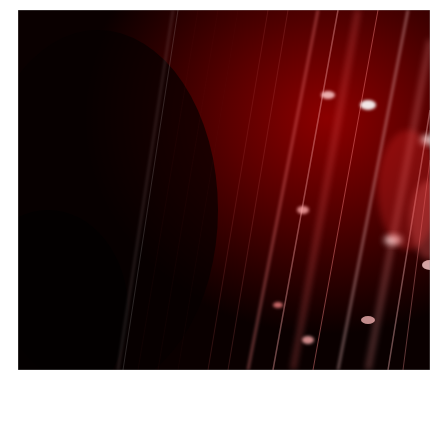[Figure (photo): Close-up microscopy or fluorescence imaging of what appears to be a coronary stent or vessel tissue, showing diagonal filament-like structures with glowing bright spots on a dark red/black background, consistent with medical device imaging.]
[Figure (logo): Pink/magenta circle with white 'help' text — help button logo]
Medtronic
Onyx Frontier™ DES
Great just got better
Introducing our latest DES
See what's new and view risk info
UC202210184 EN ©2022 Medtronic. All rights reserved. 02/2022